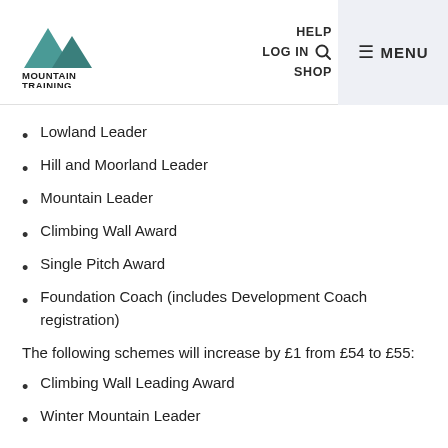Mountain Training | HELP LOG IN SHOP | MENU
Lowland Leader
Hill and Moorland Leader
Mountain Leader
Climbing Wall Award
Single Pitch Award
Foundation Coach (includes Development Coach registration)
The following schemes will increase by £1 from £54 to £55:
Climbing Wall Leading Award
Winter Mountain Leader
The following schemes will increase by £2 from £75 to £77:
International Mountain Leader